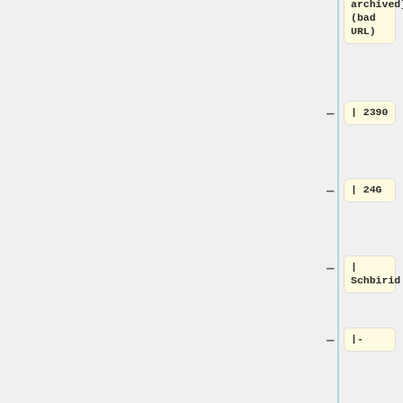archived] (bad URL)
| 2390
| 24G
| Schbirid
|-
| 60000-64999
| Done, [https://archive.org/details/FileplanetFiles_60000-64999 archived]
| 2349